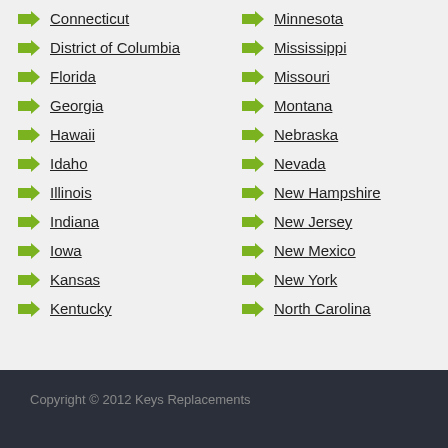Connecticut
Minnesota
District of Columbia
Mississippi
Florida
Missouri
Georgia
Montana
Hawaii
Nebraska
Idaho
Nevada
Illinois
New Hampshire
Indiana
New Jersey
Iowa
New Mexico
Kansas
New York
Kentucky
North Carolina
Copyright © 2012 Keys Replacements